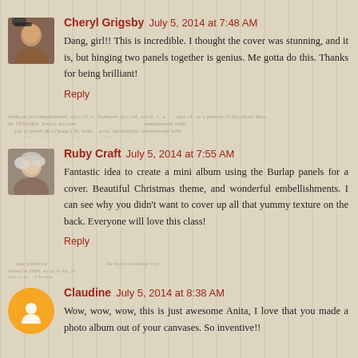Cheryl Grigsby  July 5, 2014 at 7:48 AM
Dang, girl!! This is incredible. I thought the cover was stunning, and it is, but hinging two panels together is genius. Me gotta do this. Thanks for being brilliant!
Reply
Ruby Craft  July 5, 2014 at 7:55 AM
Fantastic idea to create a mini album using the Burlap panels for a cover. Beautiful Christmas theme, and wonderful embellishments. I can see why you didn't want to cover up all that yummy texture on the back. Everyone will love this class!
Reply
Claudine  July 5, 2014 at 8:38 AM
Wow, wow, wow, this is just awesome Anita, I love that you made a photo album out of your canvases. So inventive!!